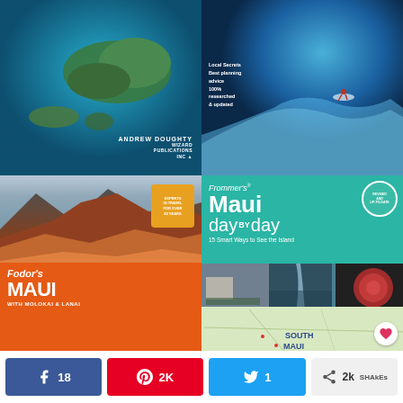[Figure (photo): Book cover: Aerial map view of Hawaiian islands (Maui/Molokai) over turquoise ocean, with text 'ANDREW DOUGHTY' and 'WIZARD PUBLICATIONS INC' in bottom right]
[Figure (photo): Book cover: Aerial view of surfer on blue ocean wave with text 'Local Secrets, Best planning advice, 100% researched & updated']
[Figure (photo): Book cover: Fodor's MAUI WITH MOLOKAI & LANAI - orange cover with volcanic crater landscape photo, badge 'EXPERTS IN TRAVEL FOR OVER 80 YEARS']
[Figure (photo): Book cover: Frommer's Maui day by day - teal cover with title, tagline '15 Smart Ways to See the Island', photos of church/waterfall/flower, and South Maui map. Heart/like button overlay in bottom right.]
18 (Facebook shares)
2K (Pinterest saves)
1 (Twitter shares)
2k SHARES (share count)